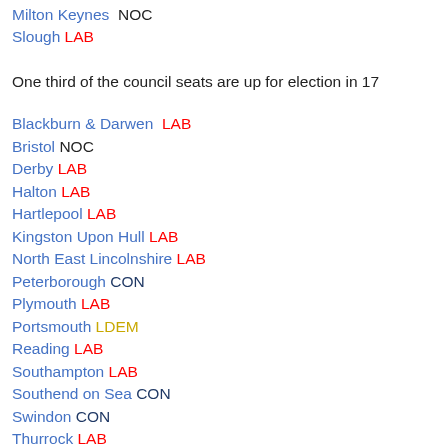Milton Keynes  NOC
Slough  LAB
One third of the council seats are up for election in 17
Blackburn & Darwen  LAB
Bristol  NOC
Derby  LAB
Halton  LAB
Hartlepool  LAB
Kingston Upon Hull  LAB
North East Lincolnshire  LAB
Peterborough  CON
Plymouth  LAB
Portsmouth  LDEM
Reading  LAB
Southampton  LAB
Southend on Sea  CON
Swindon  CON
Thurrock  LAB
Warrington  LAB